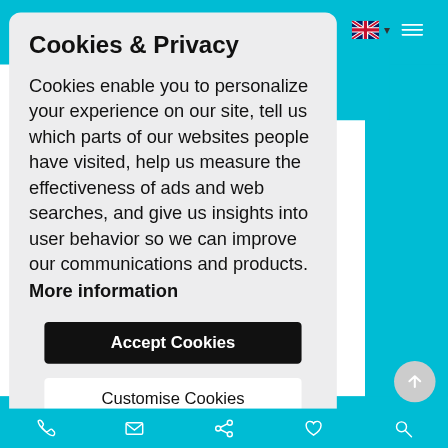[Figure (screenshot): Website cookie consent modal dialog on a teal background. Contains UK flag navigation icon and hamburger menu in top right. Modal has rounded corners, light gray background with title, body text, and two buttons.]
Cookies & Privacy
Cookies enable you to personalize your experience on our site, tell us which parts of our websites people have visited, help us measure the effectiveness of ads and web searches, and give us insights into user behavior so we can improve our communications and products.
More information
Accept Cookies
Customise Cookies